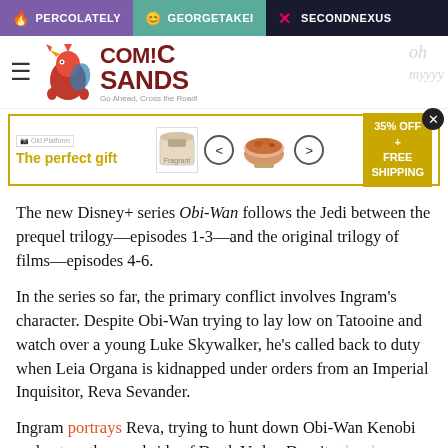PERCOLATELY | GEORGETAKEI | SECONDNEXUS
[Figure (logo): Comic Sands website logo with rooster mascot and site name]
[Figure (infographic): Advertisement banner: 'The perfect gift' with bowl product image and '35% OFF + FREE SHIPPING' offer]
The new Disney+ series Obi-Wan follows the Jedi between the prequel trilogy—episodes 1-3—and the original trilogy of films—episodes 4-6.
In the series so far, the primary conflict involves Ingram's character. Despite Obi-Wan trying to lay low on Tatooine and watch over a young Luke Skywalker, he's called back to duty when Leia Organa is kidnapped under orders from an Imperial Inquisitor, Reva Sevander.
Ingram portrays Reva, trying to hunt down Obi-Wan Kenobi and get on the good side of Darth Vader. Despite the show only having two episodes available for streaming, Ingram has been singled out for online abuse